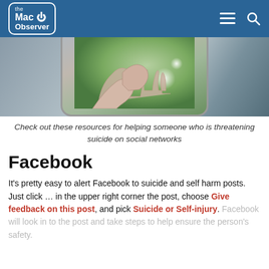the Mac Observer
[Figure (photo): A smartphone frame showing a close-up photo of an outstretched hand against a blurred green outdoor background.]
Check out these resources for helping someone who is threatening suicide on social networks
Facebook
It's pretty easy to alert Facebook to suicide and self harm posts. Just click … in the upper right corner the post, choose Give feedback on this post, and pick Suicide or Self-injury. Facebook will look in to the post and take steps to help ensure the person's safety.